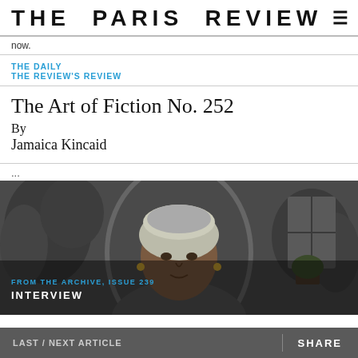THE PARIS REVIEW
now.
THE DAILY
THE REVIEW'S REVIEW
The Art of Fiction No. 252
By
Jamaica Kincaid
...
[Figure (photo): Black and white photograph of Jamaica Kincaid, a woman wearing a head wrap, seated in a chair with plants visible in the background. Overlaid text reads: FROM THE ARCHIVE, ISSUE 239 / INTERVIEW]
LAST / NEXT ARTICLE    SHARE